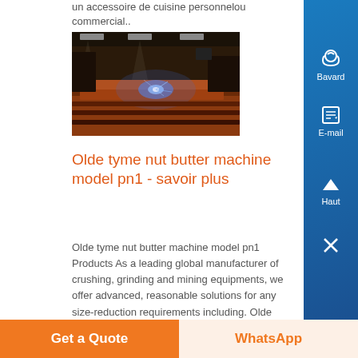un accessoire de cuisine personnelou commercial..
[Figure (photo): Factory interior with industrial machinery and blue plasma cutting light on metal workpiece]
Olde tyme nut butter machine model pn1 - savoir plus
Olde tyme nut butter machine model pn1 Products As a leading global manufacturer of crushing, grinding and mining equipments, we offer advanced, reasonable solutions for any size-reduction requirements including. Olde tyme nut...